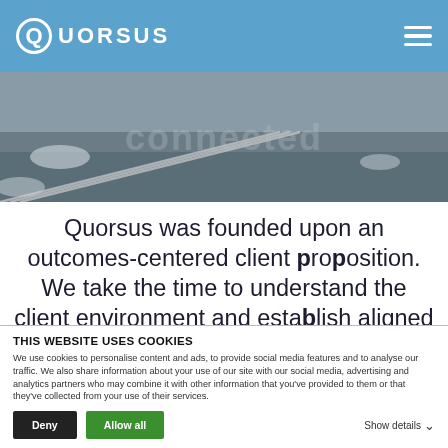Quorsus
[Figure (photo): Aerial or landscape photograph in black and white showing a winding road or path through terrain, with watermark text overlay]
Quorsus was founded upon an outcomes-centered client proposition. We take the time to understand the client environment and establish aligned incentives. We develop informed, ambitious
THIS WEBSITE USES COOKIES
We use cookies to personalise content and ads, to provide social media features and to analyse our traffic. We also share information about your use of our site with our social media, advertising and analytics partners who may combine it with other information that you've provided to them or that they've collected from your use of their services.
Deny
Allow all
Show details